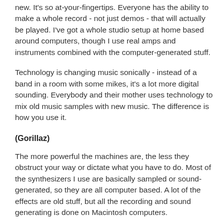new. It's so at-your-fingertips. Everyone has the ability to make a whole record - not just demos - that will actually be played. I've got a whole studio setup at home based around computers, though I use real amps and instruments combined with the computer-generated stuff.
Technology is changing music sonically - instead of a band in a room with some mikes, it's a lot more digital sounding. Everybody and their mother uses technology to mix old music samples with new music. The difference is how you use it.
(Gorillaz)
The more powerful the machines are, the less they obstruct your way or dictate what you have to do. Most of the synthesizers I use are basically sampled or sound-generated, so they are all computer based. A lot of the effects are old stuff, but all the recording and sound generating is done on Macintosh computers.
publié dans Wired